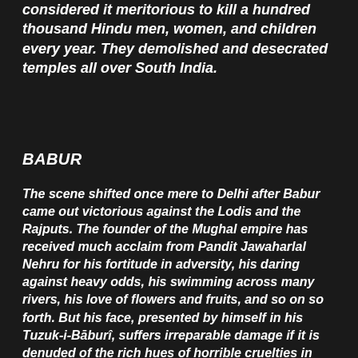considered it meritorious to kill a hundred thousand Hindu men, women, and children every year. They demolished and desecrated temples all over South India.
BABUR
The scene shifted once mere to Delhi after Babur came out victorious against the Lodis and the Rajputs. The founder of the Mughal empire has received much acclaim from Pandit Jawaharlal Nehru for his fortitude in adversity, his daring against heavy odds, his swimming across many rivers, his love of flowers and fruits, and so on so forth. But his face, presented by himself in his Tuzuk-i-Bāburî, suffers irreparable damage if it is denuded of the rich hues of horrible cruelties in which he habitually indulged. The lurid details he provides of his repeated